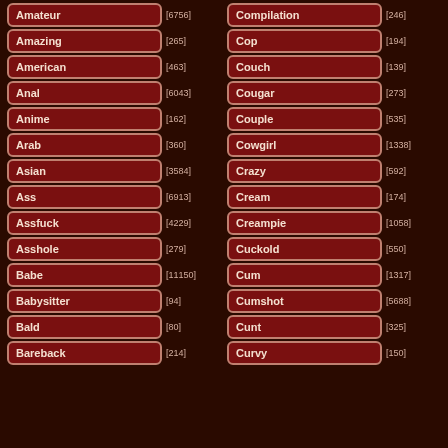Amateur [6756]
Compilation [246]
Amazing [265]
Cop [194]
American [463]
Couch [139]
Anal [6043]
Cougar [273]
Anime [162]
Couple [535]
Arab [360]
Cowgirl [1338]
Asian [3584]
Crazy [592]
Ass [6913]
Cream [174]
Assfuck [4229]
Creampie [1058]
Asshole [279]
Cuckold [550]
Babe [11150]
Cum [1317]
Babysitter [94]
Cumshot [5688]
Bald [80]
Cunt [325]
Bareback [214]
Curvy [150]